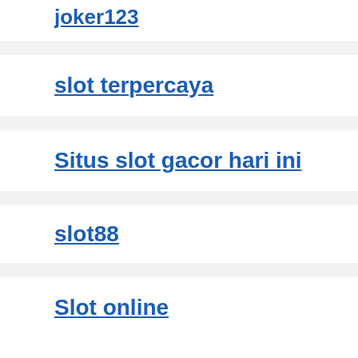joker123
slot terpercaya
Situs slot gacor hari ini
slot88
Slot online